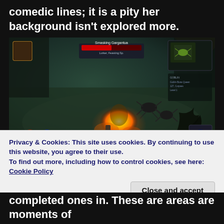comedic lines; it is a pity her background isn't explored more.
[Figure (screenshot): Screenshot from a dark fantasy action RPG (Diablo-style), showing combat with fire explosions, spider-like enemies, and various UI elements including health/mana orbs, minimap, and enemy health bar for 'Smasking Gargantua'.]
Privacy & Cookies: This site uses cookies. By continuing to use this website, you agree to their use.
To find out more, including how to control cookies, see here: Cookie Policy
completed ones in. These are areas are moments of